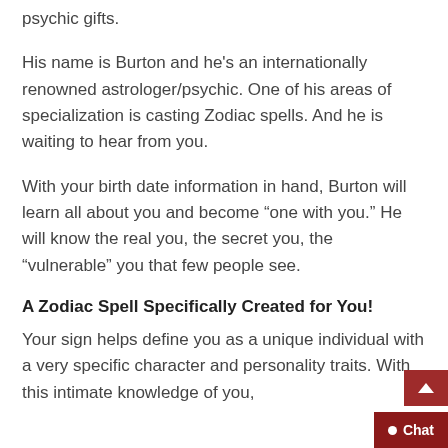psychic gifts.
His name is Burton and he's an internationally renowned astrologer/psychic. One of his areas of specialization is casting Zodiac spells. And he is waiting to hear from you.
With your birth date information in hand, Burton will learn all about you and become “one with you.” He will know the real you, the secret you, the “vulnerable” you that few people see.
A Zodiac Spell Specifically Created for You!
Your sign helps define you as a unique individual with a very specific character and personality traits. With this intimate knowledge of you,